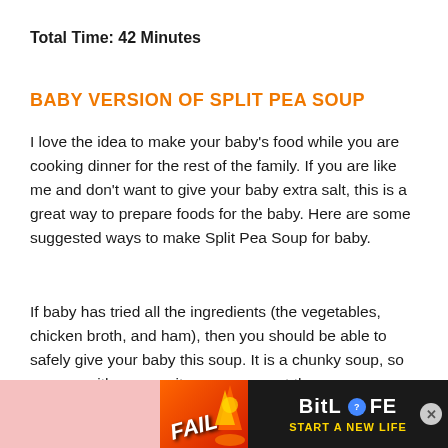Total Time: 42 Minutes
BABY VERSION OF SPLIT PEA SOUP
I love the idea to make your baby's food while you are cooking dinner for the rest of the family. If you are like me and don't want to give your baby extra salt, this is a great way to prepare foods for the baby. Here are some suggested ways to make Split Pea Soup for baby.
If baby has tried all the ingredients (the vegetables, chicken broth, and ham), then you should be able to safely give your baby this soup. It is a chunky soup, so you can either puree it, or you can cut the
[Figure (screenshot): Advertisement banner for BitLife game showing FAIL text, fire imagery, cartoon character, BitLife logo with question mark badge, and 'START A NEW LIFE' text on dark background]